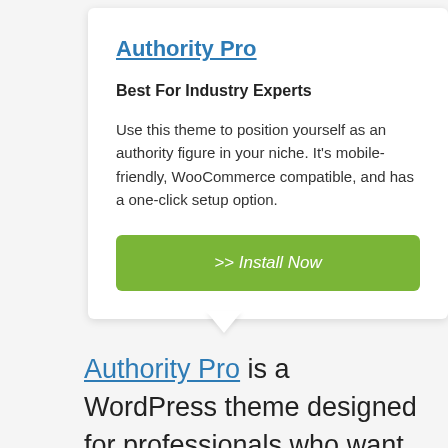Authority Pro
Best For Industry Experts
Use this theme to position yourself as an authority figure in your niche. It's mobile-friendly, WooCommerce compatible, and has a one-click setup option.
>> Install Now
Authority Pro is a WordPress theme designed for professionals who want to position themselves as an expert in a